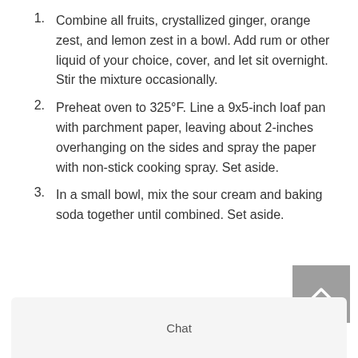1. Combine all fruits, crystallized ginger, orange zest, and lemon zest in a bowl. Add rum or other liquid of your choice, cover, and let sit overnight. Stir the mixture occasionally.
2. Preheat oven to 325°F. Line a 9x5-inch loaf pan with parchment paper, leaving about 2-inches overhanging on the sides and spray the paper with non-stick cooking spray. Set aside.
3. In a small bowl, mix the sour cream and baking soda together until combined. Set aside.
Chat